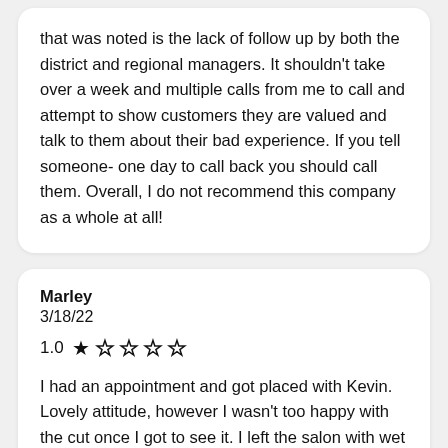that was noted is the lack of follow up by both the district and regional managers. It shouldn't take over a week and multiple calls from me to call and attempt to show customers they are valued and talk to them about their bad experience. If you tell someone- one day to call back you should call them. Overall, I do not recommend this company as a whole at all!
Marley
3/18/22
1.0 ★☆☆☆☆
I had an appointment and got placed with Kevin. Lovely attitude, however I wasn't too happy with the cut once I got to see it. I left the salon with wet hair so it was hard to see